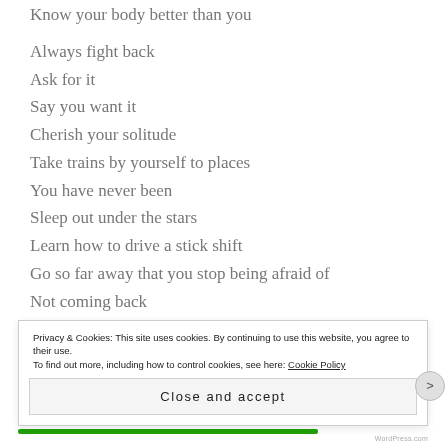Know your body better than you
Always fight back
Ask for it
Say you want it
Cherish your solitude
Take trains by yourself to places
You have never been
Sleep out under the stars
Learn how to drive a stick shift
Go so far away that you stop being afraid of
Not coming back
Privacy & Cookies: This site uses cookies. By continuing to use this website, you agree to their use. To find out more, including how to control cookies, see here: Cookie Policy
Close and accept